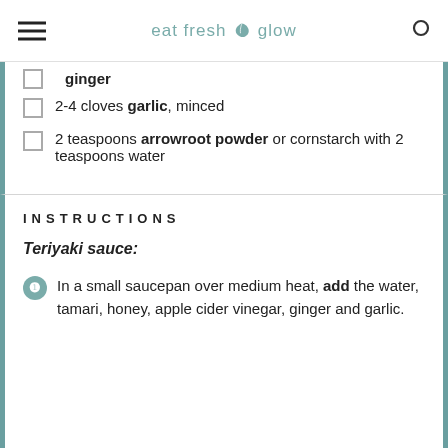eat fresh glow
ginger
2-4 cloves garlic, minced
2 teaspoons arrowroot powder or cornstarch with 2 teaspoons water
INSTRUCTIONS
Teriyaki sauce:
In a small saucepan over medium heat, add the water, tamari, honey, apple cider vinegar, ginger and garlic.